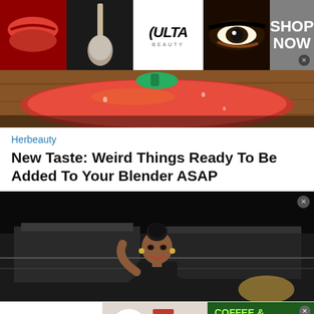[Figure (screenshot): Ulta Beauty advertisement banner with makeup imagery - lips, brush, eyes, Ulta logo, and SHOP NOW call to action]
[Figure (photo): Close-up photo of a red bell pepper on a wooden surface]
Herbeauty
New Taste: Weird Things Ready To Be Added To Your Blender ASAP
[Figure (photo): Photo of a young woman with hair in a bun, standing outdoors at night near architectural structures, smiling at camera]
[Figure (screenshot): WebstaurantStore advertisement for Coffee & Sweetener with Folgers products shown. Text: COFFEE & SWEETENER, Convenient & Delicious, CODE: BREW]